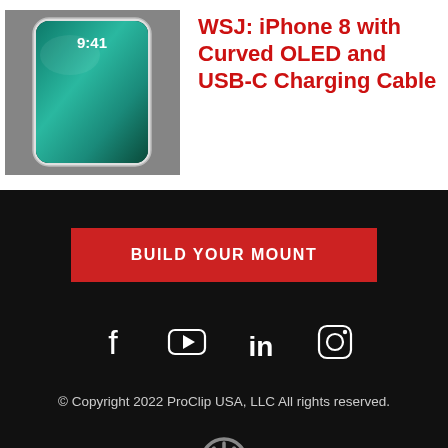[Figure (photo): iPhone 8 concept render showing a smartphone with curved OLED display, showing 9:41 time on lock screen, lying on a gray textured surface]
WSJ: iPhone 8 with Curved OLED and USB-C Charging Cable
BUILD YOUR MOUNT
[Figure (other): Social media icons: Facebook, YouTube, LinkedIn, Instagram]
© Copyright 2022 ProClip USA, LLC All rights reserved.
[Figure (logo): ProClip power/logo icon in gray]